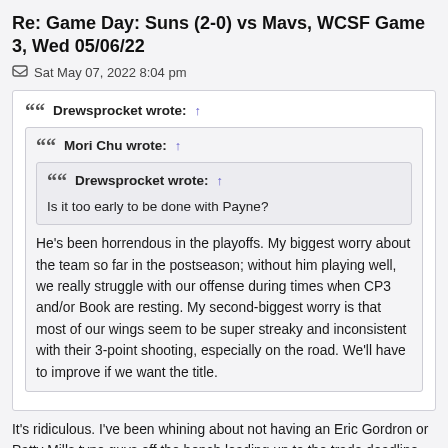Re: Game Day: Suns (2-0) vs Mavs, WCSF Game 3, Wed 05/06/22
Sat May 07, 2022 8:04 pm
Drewsprocket wrote: ↑
Mori Chu wrote: ↑
Drewsprocket wrote: ↑
Is it too early to be done with Payne?
He's been horrendous in the playoffs. My biggest worry about the team so far in the postseason; without him playing well, we really struggle with our offense during times when CP3 and/or Book are resting. My second-biggest worry is that most of our wings seem to be super streaky and inconsistent with their 3-point shooting, especially on the road. We'll have to improve if we want the title.
It's ridiculous. I've been whining about not having an Eric Gordron or Patty Mills type guys off the bench leading up to the trade deadline. We can get by if Payne is rolling or getting his teammates involved but the he can really feast their as a cult for development to date to